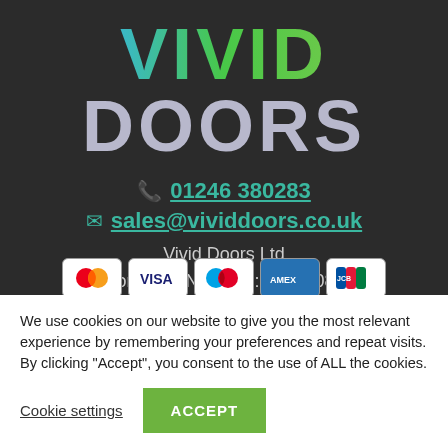[Figure (logo): Vivid Doors logo with 'VIVID' in teal-to-green gradient and 'DOORS' in light grey/purple, on dark background]
📞 01246 380283
✉ sales@vividdoors.co.uk
Vivid Doors Ltd
Company Number : 11557086
[Figure (other): Payment card logos: Mastercard, Visa, Maestro, Amex, JCB]
We use cookies on our website to give you the most relevant experience by remembering your preferences and repeat visits. By clicking "Accept", you consent to the use of ALL the cookies.
Cookie settings
ACCEPT